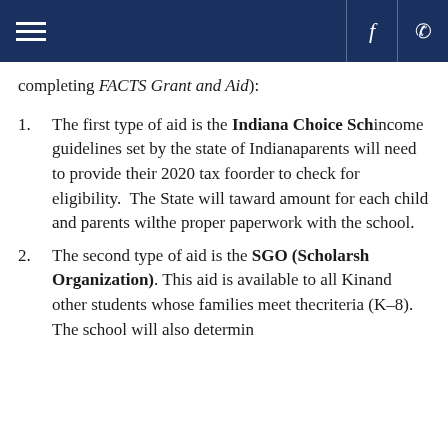Navigation bar with hamburger menu, Facebook and phone icons
completing FACTS Grant and Aid):
The first type of aid is the Indiana Choice Sch... income guidelines set by the state of Indiana... parents will need to provide their 2020 tax fo... order to check for eligibility. The State will t... award amount for each child and parents wil... the proper paperwork with the school.
The second type of aid is the SGO (Scholarsh... Organization). This aid is available to all Kin... and other students whose families meet the ... criteria (K–8). The school will also determin...